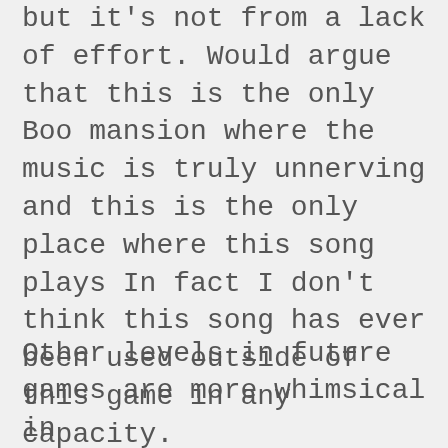but it's not from a lack of effort. Would argue that this is the only Boo mansion where the music is truly unnerving and this is the only place where this song plays In fact I don't think this song has ever been used outside of this game in any capacity.
Other levels in future games are more whimsical in